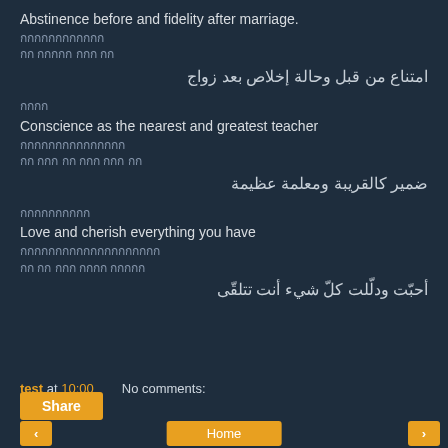Abstinence before and fidelity after marriage.
กกกกกกกกกกกก
กก กกกกก กกก กก
امتناع من قبل وحالة إخلاص بعد زواج
กกกก
Conscience as the nearest and greatest teacher
กกกกกกกกกกกกกกก
กก กกก กก กกก กกก กก
ضمير كالقريبة ومعلمة عظيمة
กกกกกกกกกก
Love and cherish everything you have
กกกกกกกกกกกกกกกกกกกก
กก กก กกก กกกก กกกกก
أحبّت ودلّلت كلّ شيء أنت تتلقّى
test at 10:00    No comments:
Share
‹   Home   ›